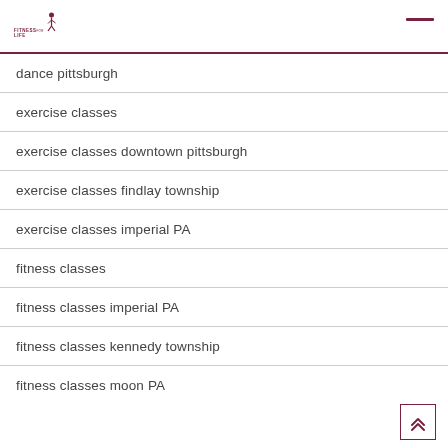FITNESS FOR LIFE
dance pittsburgh
exercise classes
exercise classes downtown pittsburgh
exercise classes findlay township
exercise classes imperial PA
fitness classes
fitness classes imperial PA
fitness classes kennedy township
fitness classes moon PA